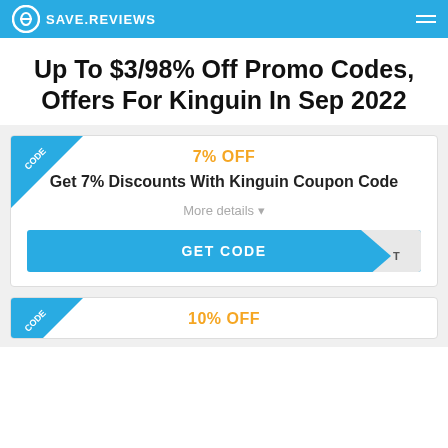SAVE.REVIEWS
Up To $3/98% Off Promo Codes, Offers For Kinguin In Sep 2022
7% OFF
Get 7% Discounts With Kinguin Coupon Code
More details
GET CODE
10% OFF